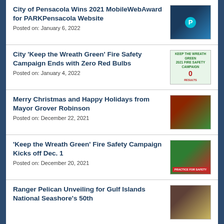City of Pensacola Wins 2021 MobileWebAward for PARKPensacola Website
Posted on: January 6, 2022
City 'Keep the Wreath Green' Fire Safety Campaign Ends with Zero Red Bulbs
Posted on: January 4, 2022
Merry Christmas and Happy Holidays from Mayor Grover Robinson
Posted on: December 22, 2021
'Keep the Wreath Green' Fire Safety Campaign Kicks off Dec. 1
Posted on: December 20, 2021
Ranger Pelican Unveiling for Gulf Islands National Seashore's 50th